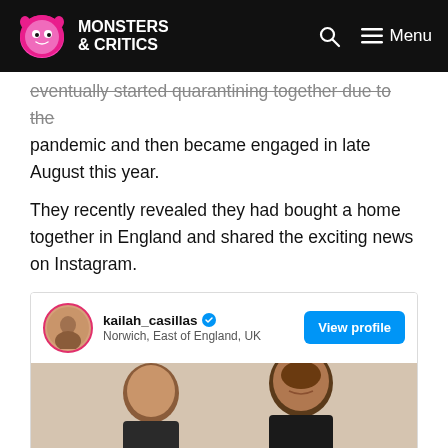MONSTERS & CRITICS
eventually started quarantining together due to the pandemic and then became engaged in late August this year.
They recently revealed they had bought a home together in England and shared the exciting news on Instagram.
[Figure (screenshot): Instagram post embed for user kailah_casillas, verified, located in Norwich, East of England, UK, with a View profile button and a photo of a couple]